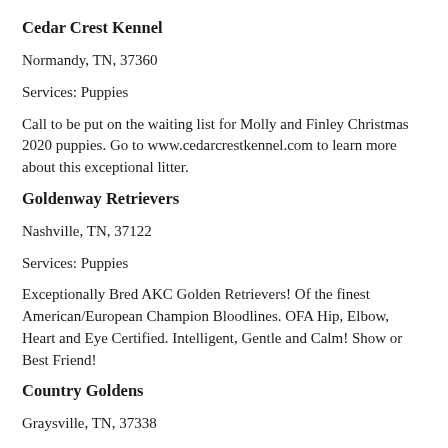Cedar Crest Kennel
Normandy, TN, 37360
Services: Puppies
Call to be put on the waiting list for Molly and Finley Christmas 2020 puppies. Go to www.cedarcrestkennel.com to learn more about this exceptional litter.
Goldenway Retrievers
Nashville, TN, 37122
Services: Puppies
Exceptionally Bred AKC Golden Retrievers! Of the finest American/European Champion Bloodlines. OFA Hip, Elbow, Heart and Eye Certified. Intelligent, Gentle and Calm! Show or Best Friend!
Country Goldens
Graysville, TN, 37338